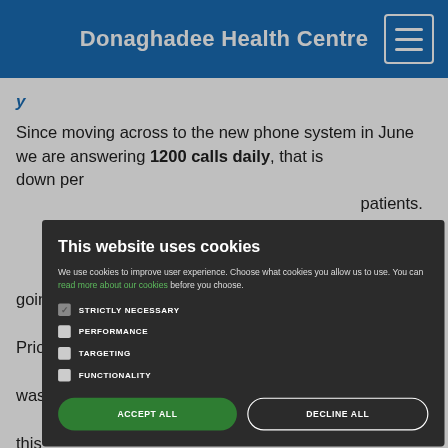Donaghadee Health Centre
Since moving across to the new phone system in June we are answering 1200 calls daily, that is [partially obscured] down per [partially obscured] patients. [partially obscured] 3 lines [partially obscured] s were [partially obscured] ines going [partially obscured] calls. Prior [partially obscured] mplaint was [partially obscured] one and this [partially obscured] with more [partially obscured] having to [partially obscured] o speak to a [partially obscured] os to improve waiting times.
[Figure (screenshot): Cookie consent modal dialog with dark background. Title: 'This website uses cookies'. Description text about cookie usage with a green link 'read more about our cookies'. Four checkboxes: STRICTLY NECESSARY (checked), PERFORMANCE (unchecked), TARGETING (unchecked), FUNCTIONALITY (unchecked). Two buttons: ACCEPT ALL (green, rounded) and DECLINE ALL (outlined, rounded).]